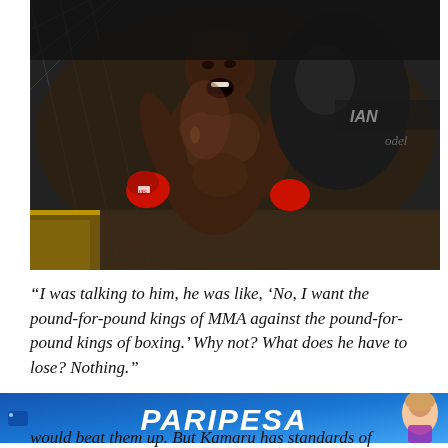[Figure (photo): UFC fighter (Kamaru Usman) shirtless, celebrating or fighting in the octagon, wearing red MMA gloves, mouth open in a roar, with UFC cage fencing and sponsor logos visible in background]
“I was talking to him, he was like, ‘No, I want the pound-for-pound kings of MMA against the pound-for-pound kings of boxing.’ Why not? What does he have to lose? Nothing.”
[Figure (other): PARIPESA advertisement banner with blue gradient background, white italic bold text reading PARIPESA, and a woman in the right corner]
would beat them up. But Kamaru has standards of